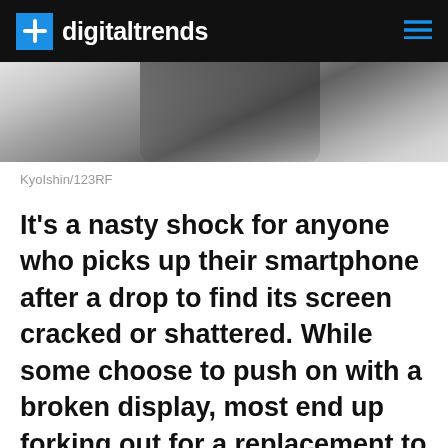digitaltrends
[Figure (photo): Close-up grayscale photo of a smartphone edge/side, partially cropped at top of page]
KyoIshin/123RF
It's a nasty shock for anyone who picks up their smartphone after a drop to find its screen cracked or shattered. While some choose to push on with a broken display, most end up forking out for a replacement to get their handset looking as good as new again. Minus any other scratches picked up